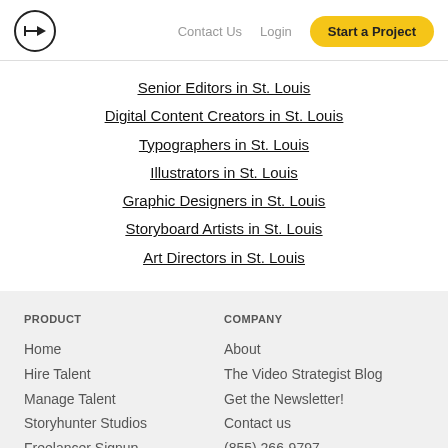Contact Us  Login  Start a Project
Senior Editors in St. Louis
Digital Content Creators in St. Louis
Typographers in St. Louis
Illustrators in St. Louis
Graphic Designers in St. Louis
Storyboard Artists in St. Louis
Art Directors in St. Louis
PRODUCT
Home
Hire Talent
Manage Talent
Storyhunter Studios
Freelancer Signup
COMPANY
About
The Video Strategist Blog
Get the Newsletter!
Contact us
(855) 266-9797